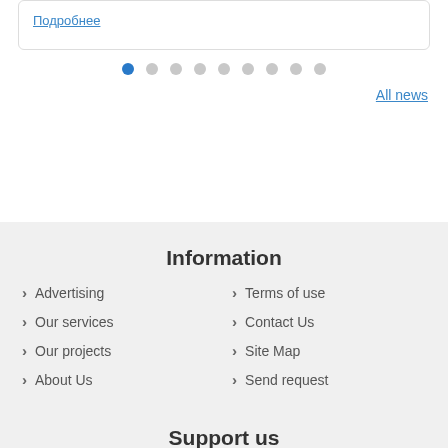Подробнее
[Figure (other): Pagination dots: 9 dots, first one highlighted in blue]
All news
Information
Advertising
Terms of use
Our services
Contact Us
Our projects
Site Map
About Us
Send request
Support us
Скачайте наше мобильное приложение для быстрого и удобного доступа к Образовательному порталу Казахстана